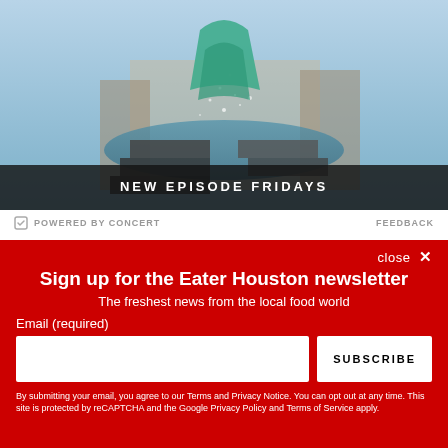[Figure (photo): Advertisement banner image showing a figure with teal/green fabric near water/fountain with text overlay 'NEW EPISODE FRIDAYS']
POWERED BY CONCERT
FEEDBACK
close ✕
Sign up for the Eater Houston newsletter
The freshest news from the local food world
Email (required)
SUBSCRIBE
By submitting your email, you agree to our Terms and Privacy Notice. You can opt out at any time. This site is protected by reCAPTCHA and the Google Privacy Policy and Terms of Service apply.